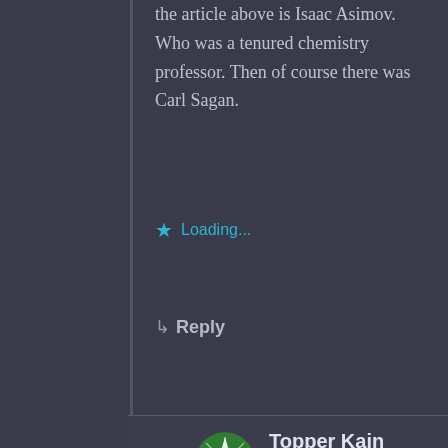the article above is Isaac Asimov. Who was a tenured chemistry professor. Then of course there was Carl Sagan.
Loading...
↳ Reply
Topper Kain
January 22, 2022 at 2:09 am
This “should” not be that hard- museums with substantial classical era artifacts seem quite popular to me and media retelling myths of the gr...